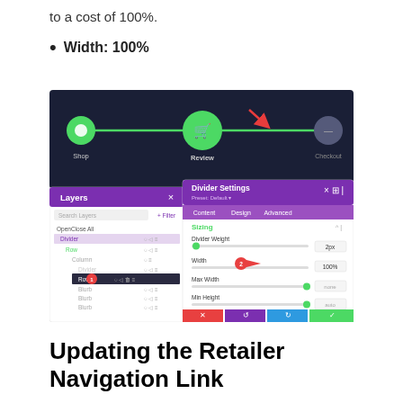to a cost of 100%.
Width: 100%
[Figure (screenshot): Screenshot of a web page builder showing a navigation/progress bar with Shop, Review, and a third step icons connected by a green line with a red arrow pointing to the line. Below are two overlapping panels: a 'Layers' panel on the left showing layer hierarchy with items like OpenClose All, Divider, Row, Column, Divider, Row, Blurb entries with numbered callout '1', and a 'Divider Settings' panel on the right showing tabs Content/Design/Advanced with a Sizing section containing Divider Weight (2px), Width field with value 100% and callout '2', Max Width, and Min Height fields, plus action buttons at the bottom in red, purple, blue, and green.]
Updating the Retailer Navigation Link